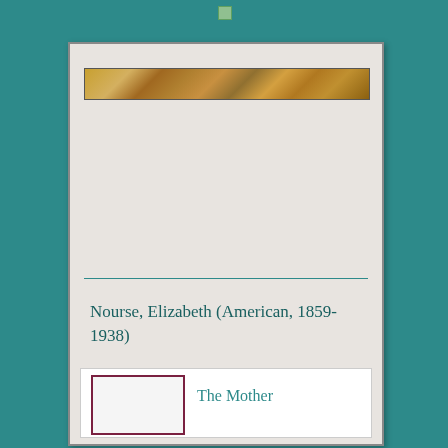[Figure (photo): Cropped strip showing top portion of a painting with warm golden/brown tones]
Nourse, Elizabeth (American, 1859-1938)
[Figure (illustration): Small thumbnail image placeholder with dark red/maroon border]
The Mother